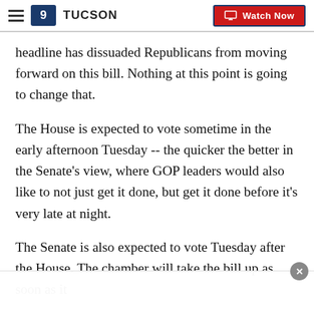9 TUCSON | Watch Now
headline has dissuaded Republicans from moving forward on this bill. Nothing at this point is going to change that.
The House is expected to vote sometime in the early afternoon Tuesday -- the quicker the better in the Senate's view, where GOP leaders would also like to not just get it done, but get it done before it's very late at night.
The Senate is also expected to vote Tuesday after the House. The chamber will take the bill up as soon as it